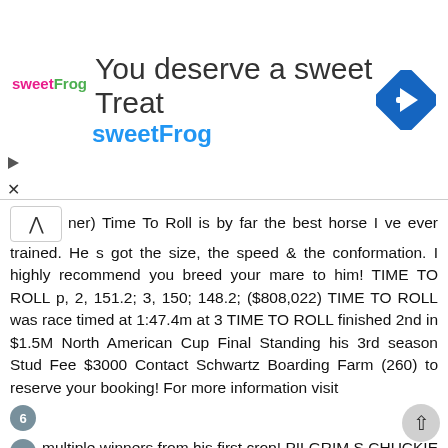[Figure (other): SweetFrog advertisement banner with logo, tagline 'You deserve a sweet Treat', brand name 'sweetFrog', and a blue diamond navigation icon]
ner) Time To Roll is by far the best horse I ve ever trained. He s got the size, the speed & the conformation. I highly recommend you breed your mare to him! TIME TO ROLL p, 2, 151.2; 3, 150; 148.2; ($808,022) TIME TO ROLL was race timed at 1:47.4m at 3 TIME TO ROLL finished 2nd in $1.5M North American Cup Final Standing his 3rd season Stud Fee $3000 Contact Schwartz Boarding Farm (260) to reserve your booking! For more information visit
6
7 multiple winners from his first crop! PILGRIM S CHUCKIE Broadway Hall - Woman Of Means - Sierra Kosmos 2, 1:57.4; 3, 1:53 ($529,084) WORLD CHAMPION By undefeated World Champion Broadway Hall, sire of a Hambletonian winner, three World Champions, four North America Division Champions and winners of $30 million including the fastest two year old ever in Caslon Schooner